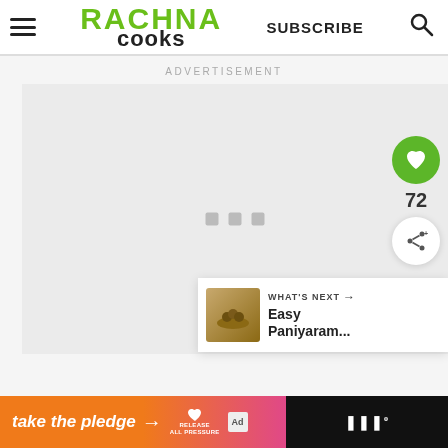RACHNA COOKS — SUBSCRIBE
ADVERTISEMENT
[Figure (screenshot): Advertisement placeholder area — light grey box with three small square loading indicators]
72
WHAT'S NEXT → Easy Paniyaram...
[Figure (photo): Thumbnail image of Easy Paniyaram dish]
take the pledge → RELEASE ad